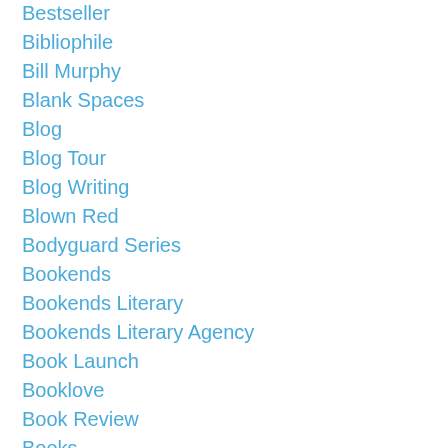Bestseller
Bibliophile
Bill Murphy
Blank Spaces
Blog
Blog Tour
Blog Writing
Blown Red
Bodyguard Series
Bookends
Bookends Literary
Bookends Literary Agency
Book Launch
Booklove
Book Review
Books
Bouchercon
Branding
Bruce Peninsula
Canada Performs
Canadian Author